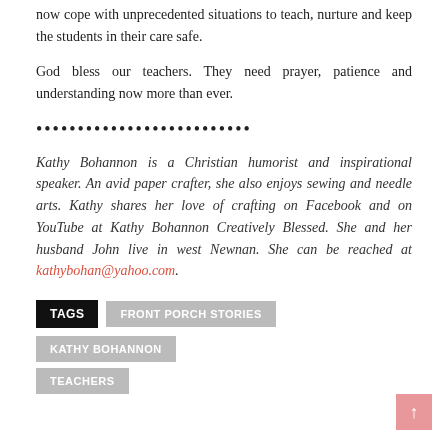now cope with unprecedented situations to teach, nurture and keep the students in their care safe.
God bless our teachers. They need prayer, patience and understanding now more than ever.
••••••••••••••••••••••••••
Kathy Bohannon is a Christian humorist and inspirational speaker. An avid paper crafter, she also enjoys sewing and needle arts. Kathy shares her love of crafting on Facebook and on YouTube at Kathy Bohannon Creatively Blessed. She and her husband John live in west Newnan. She can be reached at kathybohan@yahoo.com.
TAGS  FRONT PORCH STORIES  KATHY BOHANNON  TEACHERS